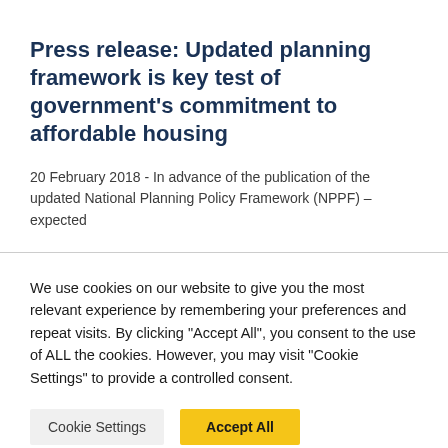Press release: Updated planning framework is key test of government's commitment to affordable housing
20 February 2018 - In advance of the publication of the updated National Planning Policy Framework (NPPF) – expected
We use cookies on our website to give you the most relevant experience by remembering your preferences and repeat visits. By clicking "Accept All", you consent to the use of ALL the cookies. However, you may visit "Cookie Settings" to provide a controlled consent.